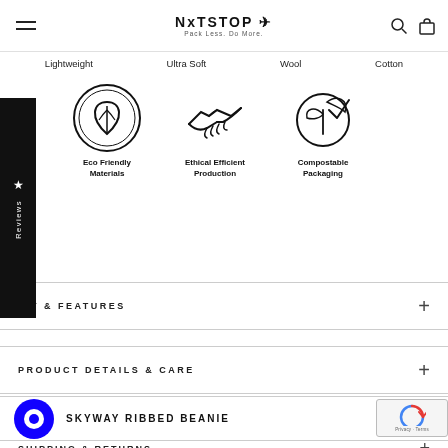NxTSTOP ✈ Pack Less. Do More.
Lightweight   Ultra Soft   Wool   Cotton
[Figure (illustration): Eco Friendly Materials badge (circular seal with leaf icon)]
Eco Friendly Materials
[Figure (illustration): Ethical Efficient Production (handshake icon)]
Ethical Efficient Production
[Figure (illustration): Compostable Packaging (plant/checkmark in circle)]
Compostable Packaging
FIT & FEATURES
PRODUCT DETAILS & CARE
SKYWAY RIBBED BEANIE
SHIPPING & RETURNS